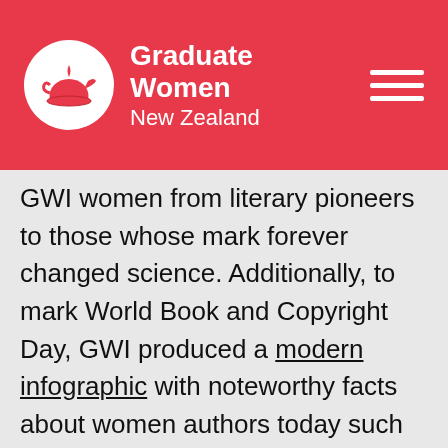Graduate Women New Zealand
GWI women from literary pioneers to those whose mark forever changed science. Additionally, to mark World Book and Copyright Day, GWI produced a modern infographic with noteworthy facts about women authors today such as books written by women authors published by major publishers cost on average 45% less than books written by men. World Book and Copyright Day is an international day to celebrate the value of knowledge and reading. In 1995, UNESCO decided to create this Day of Observance as a tribute to authors and books on 23 April, the